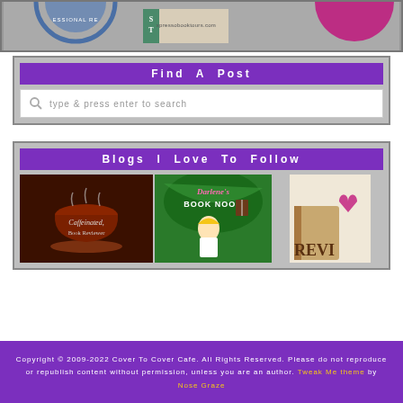[Figure (illustration): Top banner with logos: partial circular badge with 'ESSIONAL RE', Xpresso Book Tours logo, and partial pink circle badge on grey background]
Find A Post
type & press enter to search
Blogs I Love To Follow
[Figure (illustration): Three blog banner images: Caffeinated Book Reviewer (coffee cup on dark background), Darlene's Book Nook (blonde cartoon girl with tropical background and book), and partial Reviews image (book with heart bookmark)]
Copyright © 2009-2022 Cover To Cover Cafe. All Rights Reserved. Please do not reproduce or republish content without permission, unless you are an author. Tweak Me theme by Nose Graze